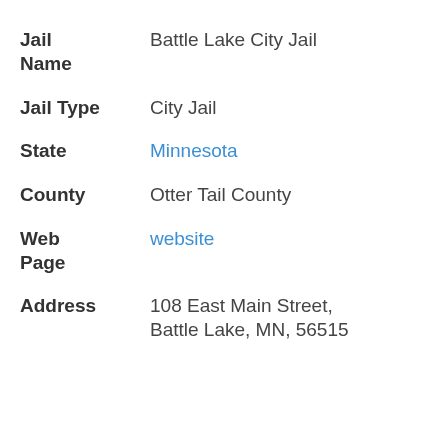Jail Name: Battle Lake City Jail
Jail Type: City Jail
State: Minnesota
County: Otter Tail County
Web Page: website
Address: 108 East Main Street, Battle Lake, MN, 56515